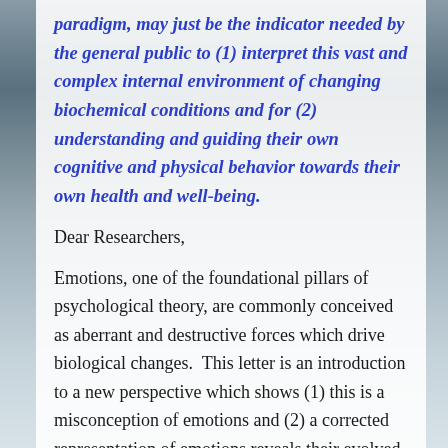paradigm, may just be the indicator needed by the general public to (1) interpret this vast and complex internal environment of changing biochemical conditions and for (2) understanding and guiding their own cognitive and physical behavior towards their own health and well-being.
Dear Researchers,
Emotions, one of the foundational pillars of psychological theory, are commonly conceived as aberrant and destructive forces which drive biological changes.  This letter is an introduction to a new perspective which shows (1) this is a misconception of emotions and (2) a corrected representation of emotions reveals their evolved